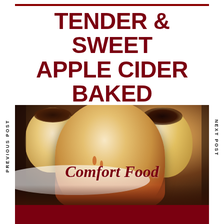TENDER & SWEET APPLE CIDER BAKED APPLES
[Figure (photo): Baked apples stuffed with fruit filling in a white dish, with a close-up of a baked apple with caramelized skin in the foreground, and 'Comfort Food' text overlay]
PREVIOUS POST
NEXT POST